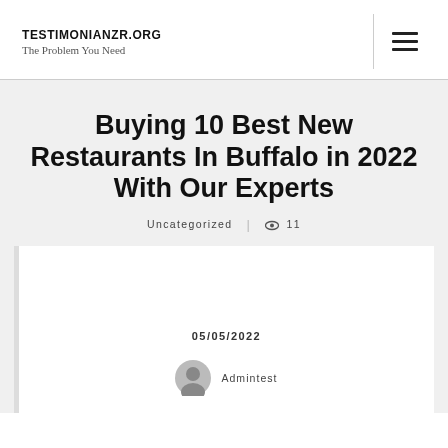TESTIMONIANZR.ORG
The Problem You Need
Buying 10 Best New Restaurants In Buffalo in 2022 With Our Experts
Uncategorized | 👁 11
05/05/2022
Admintest